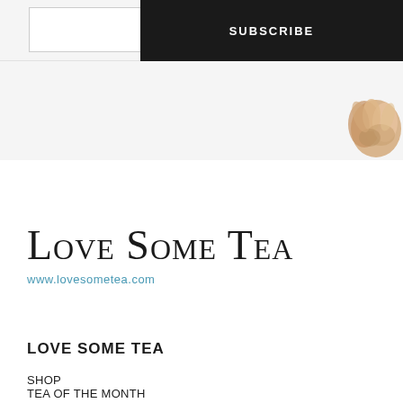SUBSCRIBE
[Figure (photo): Dried or blooming tea flower bud, beige/peach tones, positioned top right]
Love Some Tea
www.lovesometea.com
LOVE SOME TEA
SHOP
TEA OF THE MONTH
WHOLESALE
ABOUT US
OUR STORY
OUR MISSION
PLANTATION-FREE